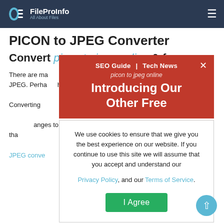FileProInfo — All About Files
PICON to JPEG Converter
Convert picon to jpeg online & free
There are many reasons why you may want to convert a PICON file to JPEG. Perhaps the one most important is that a JPEG can be read ... is limited to d... at. Converting... xt easier to read, as ... than PICON files... anges to a documen... JPEG format tha... ng an PICON file ... hat can be done o... PICON to JPEG conve...
[Figure (screenshot): Red promotional overlay reading 'SEO Guide | Tech News' and 'Introducing Our Other Free' with a close (×) button]
[Figure (screenshot): Cookie consent dialog: 'We use cookies to ensure that we give you the best experience on our website. If you continue to use this site we will assume that you accept and understand our Privacy Policy, and our Terms of Service.' with an 'I Agree' button]